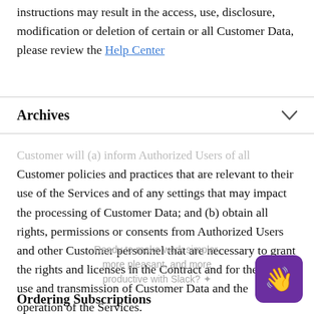instructions may result in the access, use, disclosure, modification or deletion of certain or all Customer Data, please review the Help Center
Archives
Customer will (a) inform Authorized Users of all Customer policies and practices that are relevant to their use of the Services and of any settings that may impact the processing of Customer Data; and (b) obtain all rights, permissions or consents from Authorized Users and other Customer personnel that are necessary to grant the rights and licenses in the Contract and for the lawful use and transmission of Customer Data and the operation of the Services.
Ordering Subscriptions